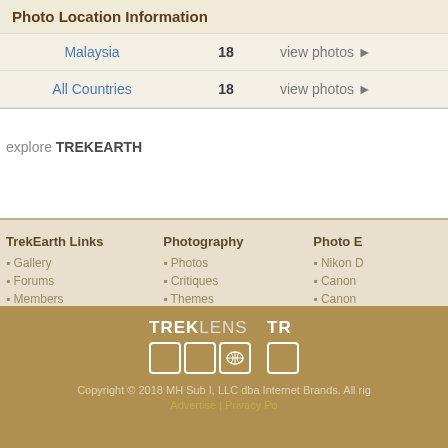| Photo Location Information |  |  |
| --- | --- | --- |
| Malaysia | 18 | view photos ▶ |
| All Countries | 18 | view photos ▶ |
explore TREKEARTH
TrekEarth Links
Gallery
Forums
Members
About
RSS Feeds
Photography
Photos
Critiques
Themes
Categories
Workshops
Photo E
Nikon D
Canon
Canon
Nikon D
Panase
[Figure (logo): TREKLENS logo with boxes and TREK partial logo]
Copyright © 2018 MH Sub I, LLC dba Internet Brands. All rights reserved. Advertise | Privacy Policy